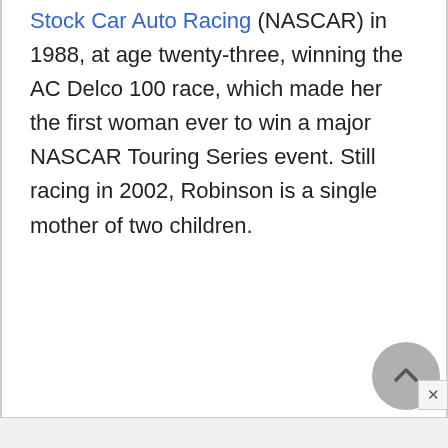Stock Car Auto Racing (NASCAR) in 1988, at age twenty-three, winning the AC Delco 100 race, which made her the first woman ever to win a major NASCAR Touring Series event. Still racing in 2002, Robinson is a single mother of two children.